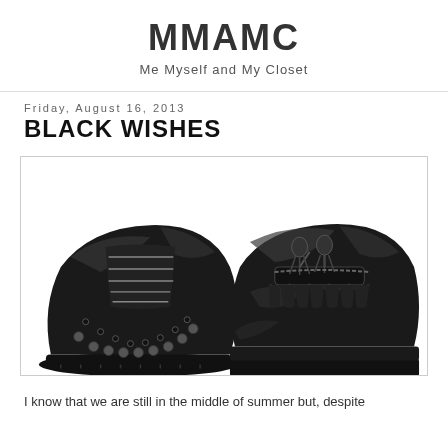MMAMC
Me Myself and My Closet
Friday, August 16, 2013
BLACK WISHES
[Figure (photo): Two black shoes side by side: on the left a studded black leather brogue/oxford shoe with thick sole, on the right a black platform loafer with tassels and chunky flatform sole, both against white background.]
I know that we are still in the middle of summer but, despite